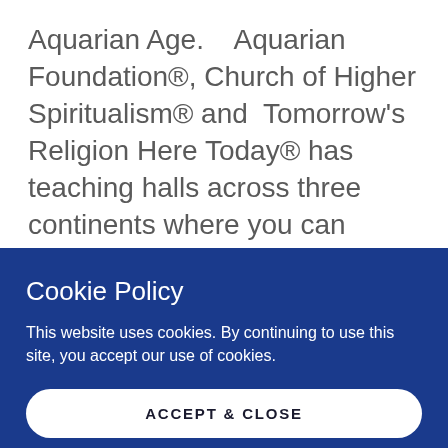Aquarian Age.   Aquarian Foundation®, Church of Higher Spiritualism® and  Tomorrow's Religion Here Today® has teaching halls across three continents where you can study and explore  the mysteries of the ancients at your own pace.
Cookie Policy
This website uses cookies. By continuing to use this site, you accept our use of cookies.
ACCEPT & CLOSE